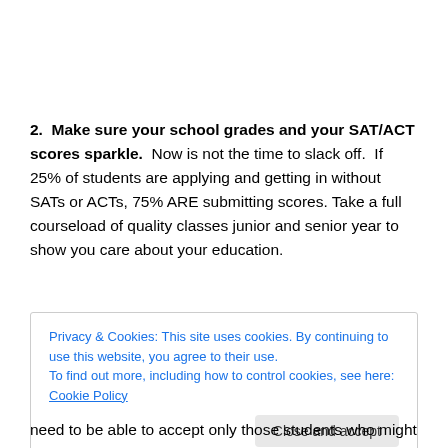2.  Make sure your school grades and your SAT/ACT scores sparkle.  Now is not the time to slack off.  If 25% of students are applying and getting in without SATs or ACTs, 75% ARE submitting scores. Take a full courseload of quality classes junior and senior year to show you care about your education.
Privacy & Cookies: This site uses cookies. By continuing to use this website, you agree to their use.
To find out more, including how to control cookies, see here: Cookie Policy
need to be able to accept only those students who might